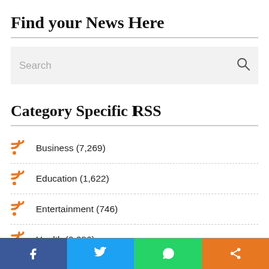Find your News Here
Search
Category Specific RSS
Business (7,269)
Education (1,622)
Entertainment (746)
Health (2,086)
FOOD (192)